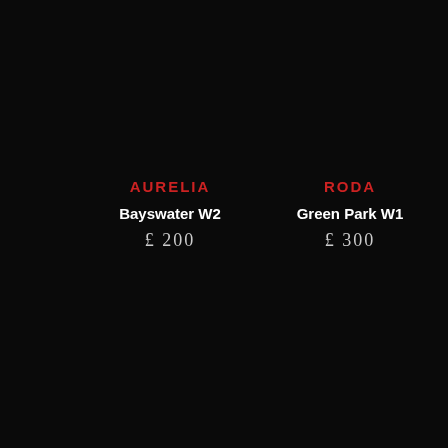AURELIA
Bayswater W2
£ 200
RODA
Green Park W1
£ 300